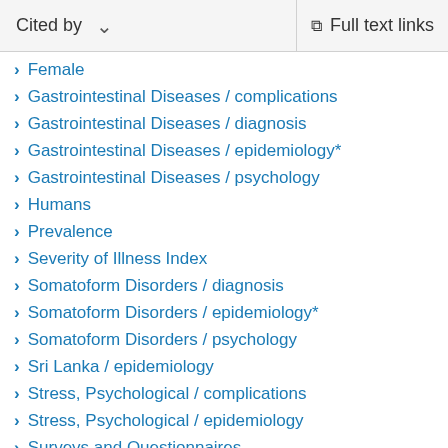Cited by   Full text links
Female
Gastrointestinal Diseases / complications
Gastrointestinal Diseases / diagnosis
Gastrointestinal Diseases / epidemiology*
Gastrointestinal Diseases / psychology
Humans
Prevalence
Severity of Illness Index
Somatoform Disorders / diagnosis
Somatoform Disorders / epidemiology*
Somatoform Disorders / psychology
Sri Lanka / epidemiology
Stress, Psychological / complications
Stress, Psychological / epidemiology
Surveys and Questionnaires